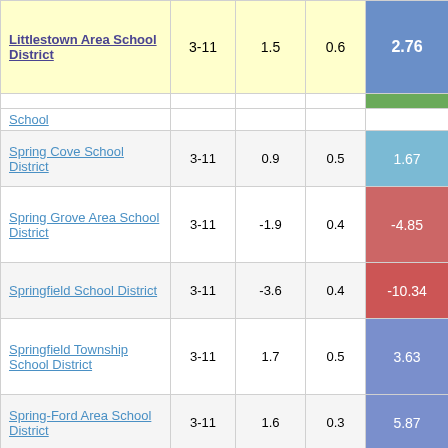| School District | Grades | Col3 | Col4 | Score |
| --- | --- | --- | --- | --- |
| Littlestown Area School District | 3-11 | 1.5 | 0.6 | 2.76 |
| School (partial) |  |  |  |  |
| Spring Cove School District | 3-11 | 0.9 | 0.5 | 1.67 |
| Spring Grove Area School District | 3-11 | -1.9 | 0.4 | -4.85 |
| Springfield School District | 3-11 | -3.6 | 0.4 | -10.34 |
| Springfield Township School District | 3-11 | 1.7 | 0.5 | 3.63 |
| Spring-Ford Area School District | 3-11 | 1.6 | 0.3 | 5.87 |
| State College Area School District | 3-11 | 0.6 | 0.4 | 1.70 |